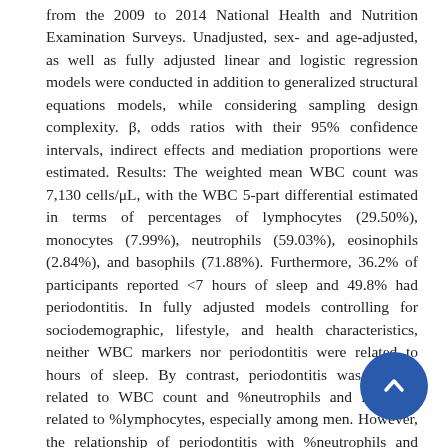from the 2009 to 2014 National Health and Nutrition Examination Surveys. Unadjusted, sex- and age-adjusted, as well as fully adjusted linear and logistic regression models were conducted in addition to generalized structural equations models, while considering sampling design complexity. β, odds ratios with their 95% confidence intervals, indirect effects and mediation proportions were estimated. Results: The weighted mean WBC count was 7,130 cells/μL, with the WBC 5-part differential estimated in terms of percentages of lymphocytes (29.50%), monocytes (7.99%), neutrophils (59.03%), eosinophils (2.84%), and basophils (71.88%). Furthermore, 36.2% of participants reported <7 hours of sleep and 49.8% had periodontitis. In fully adjusted models controlling for sociodemographic, lifestyle, and health characteristics, neither WBC markers nor periodontitis were related to hours of sleep. By contrast, periodontitis was directly related to WBC count and %neutrophils and inversely related to %lymphocytes, especially among men. However, the relationship of periodontitis with %neutrophils and %lymphocytes may be modified by hours of sleep, as it was specific to individuals reporting ≥7 hours of sleep. Conclusion: Periodontitis may be directly related to WBC count and %neutrophils and inversely related to %lymphocytes, especially among men and individuals reporting ≥7 hours of